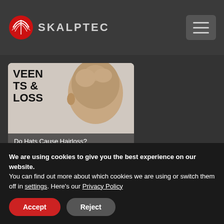[Figure (logo): SKALPTEC logo with red circular icon and gray text]
[Figure (photo): Blog card showing a bald head from behind with text overlay 'VEEN TS & LOSS' and caption 'Do Hats Cause Hairloss?']
[Figure (map): Google Maps screenshot showing Burscough Wharf area with streets Orrell Ln, Victoria St, School Ln, and Burscough Village Primary School marked]
We are using cookies to give you the best experience on our website.
You can find out more about which cookies we are using or switch them off in settings. Here's our Privacy Policy
Accept
Reject